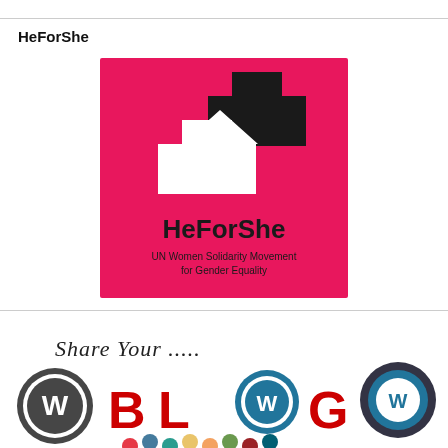HeForShe
[Figure (logo): HeForShe logo — pink background with interlocking white and black arrow/plus shapes, text 'HeForShe' and 'UN Women Solidarity Movement for Gender Equality']
[Figure (illustration): Share Your ..... BLOG graphic with WordPress logos and colorful elements]